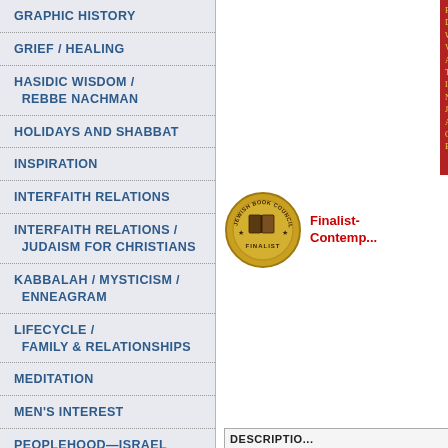GRAPHIC HISTORY
GRIEF / HEALING
HASIDIC WISDOM / REBBE NACHMAN
HOLIDAYS AND SHABBAT
INSPIRATION
INTERFAITH RELATIONS
INTERFAITH RELATIONS / JUDAISM FOR CHRISTIANS
KABBALAH / MYSTICISM / ENNEAGRAM
LIFECYCLE / FAMILY & RELATIONSHIPS
MEDITATION
MEN'S INTEREST
PEOPLEHOOD—ISRAEL
PRAYER
[Figure (photo): Red book cover with gold/yellow text listing leadership topics]
[Figure (photo): Jewish Book Council Finalist gold medal seal]
Finalist- Contemp...
DESCRIPTIO...